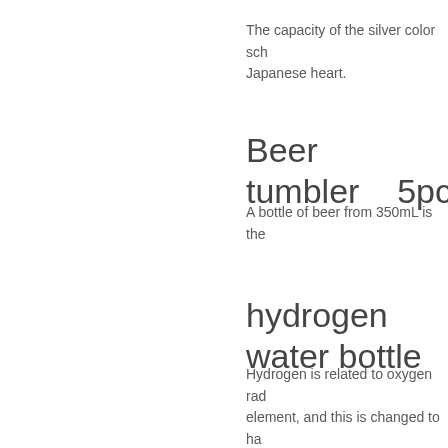The capacity of the silver color sch Japanese heart.
Beer tumbler    5pcs
A bottle of beer from 350mL is the
hydrogen water bottle
Hydrogen is related to oxygen rad element, and this is changed to ha container hydrogen water is put, h